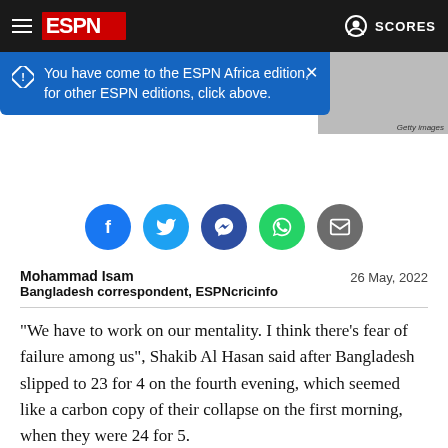ESPN — SCORES
You have come to the ESPN Africa edition, for other ESPN editions, click above.
[Figure (screenshot): Social sharing buttons: Facebook, Twitter, Messenger, WhatsApp, Email]
Mohammad Isam
Bangladesh correspondent, ESPNcricinfo
26 May, 2022
"We have to work on our mentality. I think there's fear of failure among us", Shakib Al Hasan said after Bangladesh slipped to 23 for 4 on the fourth evening, which seemed like a carbon copy of their collapse on the first morning, when they were 24 for 5.
The collapse could be decisive, with Sri Lanka needing only six wickets on the final day to clinch the Test series. Although